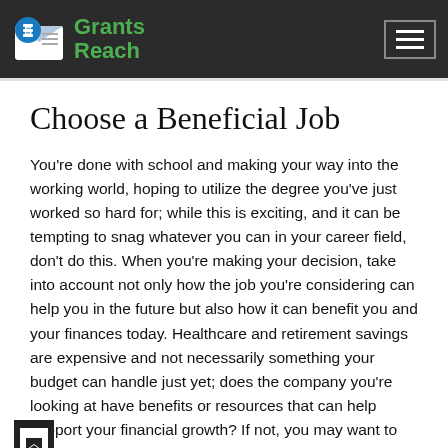Grants Reach
Choose a Beneficial Job
You're done with school and making your way into the working world, hoping to utilize the degree you've just worked so hard for; while this is exciting, and it can be tempting to snag whatever you can in your career field, don't do this. When you're making your decision, take into account not only how the job you're considering can help you in the future but also how it can benefit you and your finances today. Healthcare and retirement savings are expensive and not necessarily something your budget can handle just yet; does the company you're looking at have benefits or resources that can help support your financial growth? If not, you may want to look